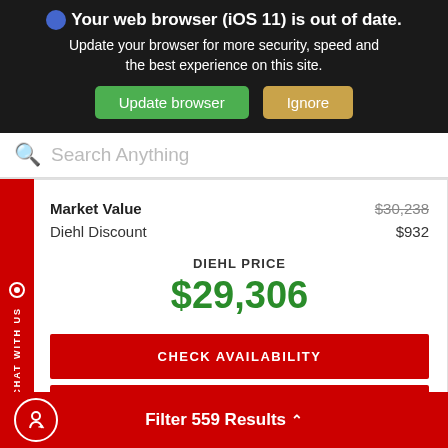Your web browser (iOS 11) is out of date. Update your browser for more security, speed and the best experience on this site. Update browser | Ignore
Search Anything
|  |  |
| --- | --- |
| Market Value | $30,238 |
| Diehl Discount | $932 |
DIEHL PRICE $29,306
CHECK AVAILABILITY
SCHEDULE TEST DRIVE
Filter 559 Results ^